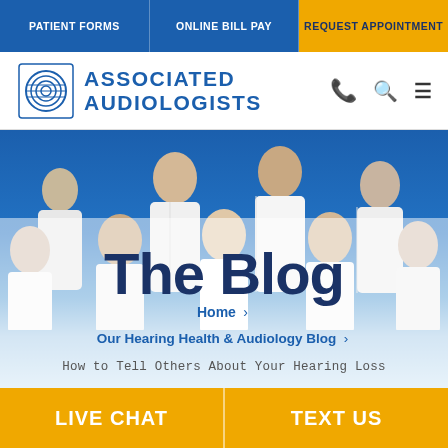PATIENT FORMS | ONLINE BILL PAY | REQUEST APPOINTMENT
[Figure (logo): Associated Audiologists logo with circular wave icon and blue text]
The Blog
Home › Our Hearing Health & Audiology Blog › How to Tell Others About Your Hearing Loss
LIVE CHAT | TEXT US